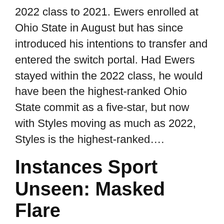2022 class to 2021. Ewers enrolled at Ohio State in August but has since introduced his intentions to transfer and entered the switch portal. Had Ewers stayed within the 2022 class, he would have been the highest-ranked Ohio State commit as a five-star, but now with Styles moving as much as 2022, Styles is the highest-ranked….
Instances Sport Unseen: Masked Flare
Nico Rosberg points out how close Max Verstappen was to having pole lap disqualified MAX VERSTAPPEN 'superbly executed' his pole position-winning lap, however got here